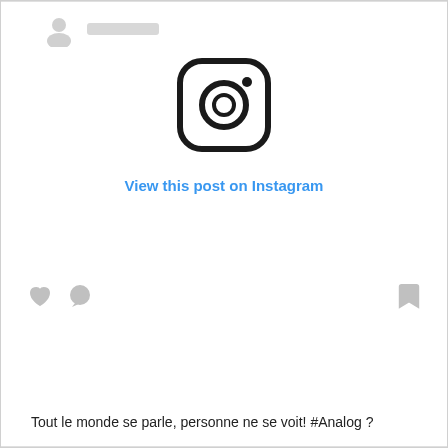[Figure (screenshot): Instagram embed placeholder showing avatar and username bar at top, Instagram camera logo in center, 'View this post on Instagram' blue link, action icons (heart, comment bubble, bookmark) at bottom row]
View this post on Instagram
Tout le monde se parle, personne ne se voit! #Analog ?